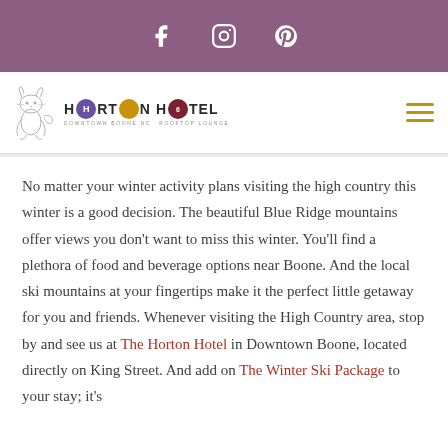Social media icons: Facebook, Instagram, Pinterest
[Figure (logo): Horton Hotel logo with stylized cat sketch, colored circles for letters H and O, text HORTON HOTEL, Downtown Boone NC, Rooftop Lounge]
No matter your winter activity plans visiting the high country this winter is a good decision. The beautiful Blue Ridge mountains offer views you don't want to miss this winter. You'll find a plethora of food and beverage options near Boone. And the local ski mountains at your fingertips make it the perfect little getaway for you and friends. Whenever visiting the High Country area, stop by and see us at The Horton Hotel in Downtown Boone, located directly on King Street. And add on The Winter Ski Package to your stay; it's